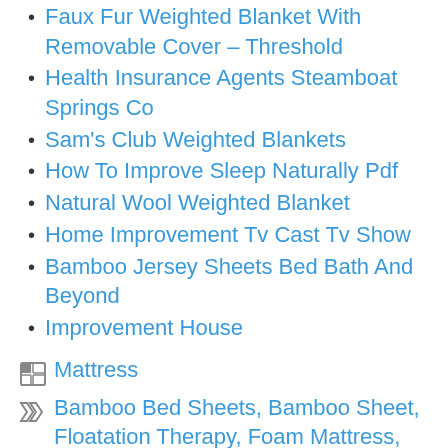Faux Fur Weighted Blanket With Removable Cover – Threshold
Health Insurance Agents Steamboat Springs Co
Sam's Club Weighted Blankets
How To Improve Sleep Naturally Pdf
Natural Wool Weighted Blanket
Home Improvement Tv Cast Tv Show
Bamboo Jersey Sheets Bed Bath And Beyond
Improvement House
Mattress
Bamboo Bed Sheets, Bamboo Sheet, Floatation Therapy, Foam Mattress, Home Improvement, Hybrid Mattress, Improve